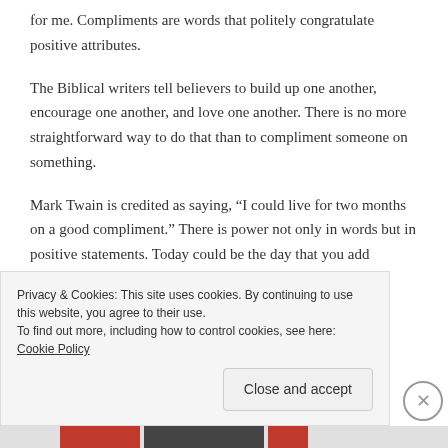for me. Compliments are words that politely congratulate positive attributes.
The Biblical writers tell believers to build up one another, encourage one another, and love one another. There is no more straightforward way to do that than to compliment someone on something.
Mark Twain is credited as saying, “I could live for two months on a good compliment.” There is power not only in words but in positive statements. Today could be the day that you add sunshine to someone’s life. You could
Privacy & Cookies: This site uses cookies. By continuing to use this website, you agree to their use.
To find out more, including how to control cookies, see here: Cookie Policy
Close and accept